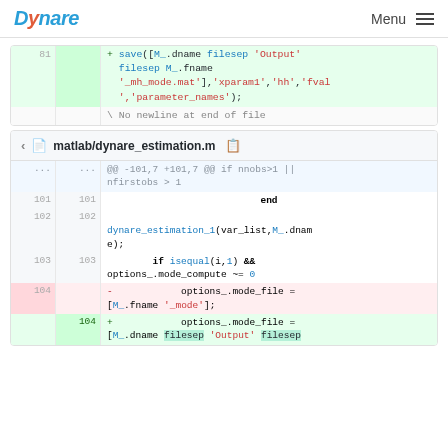Dynare  Menu
[Figure (screenshot): Code diff block showing line 81 with save([M_.dname filesep 'Output' filesep M_.fname '_mh_mode.mat'],'xparam1','hh','fval','parameter_names'); and No newline at end of file]
matlab/dynare_estimation.m
[Figure (screenshot): Code diff block for matlab/dynare_estimation.m showing hunk @@ -101,7 +101,7 @@ if nnobs>1 || nfirstobs > 1, lines 101-104 with end, dynare_estimation_1 call, if isequal check, and mode_file assignment diff]